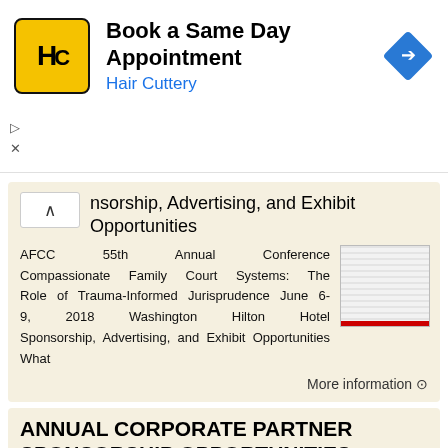[Figure (screenshot): Advertisement banner for Hair Cuttery with logo, text 'Book a Same Day Appointment', and navigation arrow icon]
Sponsorship, Advertising, and Exhibit Opportunities
AFCC 55th Annual Conference Compassionate Family Court Systems: The Role of Trauma-Informed Jurisprudence June 6-9, 2018 Washington Hilton Hotel Sponsorship, Advertising, and Exhibit Opportunities What
More information →
ANNUAL CORPORATE PARTNER SPONSORSHIP OPPORTUNITIES
ANNUAL CORPORATE PARTNER SPONSORSHIP OPPORTUNITIES PARTNER